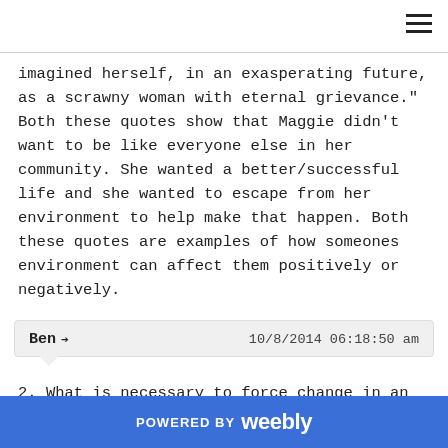imagined herself, in an exasperating future, as a scrawny woman with eternal grievance." Both these quotes show that Maggie didn't want to be like everyone else in her community. She wanted a better/successful life and she wanted to escape from her environment to help make that happen. Both these quotes are examples of how someones environment can affect them positively or negatively.
Ben → 10/8/2014 06:18:50 am
2. What is necessary to force change in an established system?

Things that are necessary for a change to be forced in a well established system are a large group of people that wasn't and agree with what
POWERED BY weebly